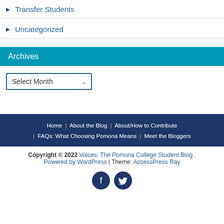Transfer Students
Uncategorized
Archives
Select Month (dropdown)
Home | About the Blog | About/How to Contribute | FAQs: What Choosing Pomona Means | Meet the Bloggers
Copyright © 2022 Voices: The Pomona College Student Blog. Powered by WordPress | Theme: AccessPress Ray